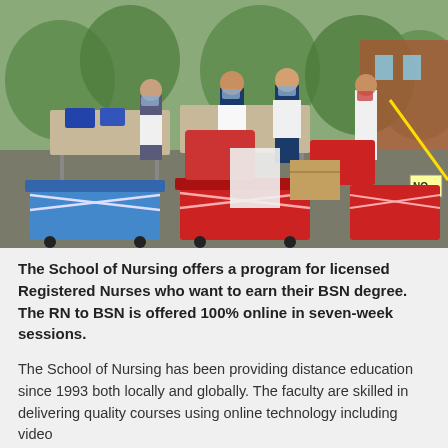[Figure (photo): Outdoor scene showing nursing students or healthcare workers in white uniforms and masks standing around folding tables with medical supply carts in blue and red in the foreground. Trees and a brick building are visible in the background.]
The School of Nursing offers a program for licensed Registered Nurses who want to earn their BSN degree. The RN to BSN is offered 100% online in seven-week sessions.
The School of Nursing has been providing distance education since 1993 both locally and globally. The faculty are skilled in delivering quality courses using online technology including video